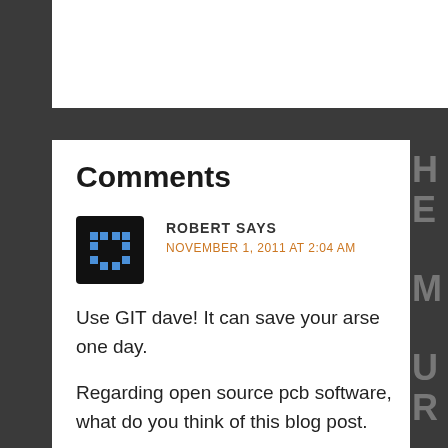Comments
ROBERT SAYS
NOVEMBER 1, 2011 AT 2:04 AM
Use GIT dave! It can save your arse one day.
Regarding open source pcb software, what do you think of this blog post.
http://www.suspectdevices.com/blahg/electroni other-open-source-its-the-meta-data-stupid/